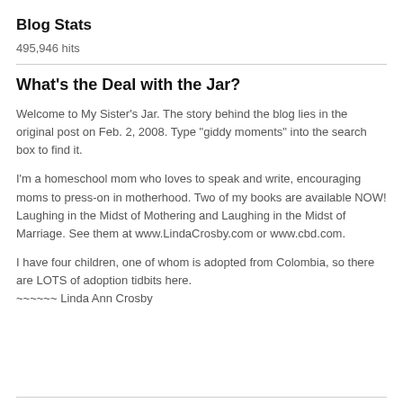Blog Stats
495,946 hits
What's the Deal with the Jar?
Welcome to My Sister's Jar. The story behind the blog lies in the original post on Feb. 2, 2008. Type "giddy moments" into the search box to find it.
I'm a homeschool mom who loves to speak and write, encouraging moms to press-on in motherhood. Two of my books are available NOW! Laughing in the Midst of Mothering and Laughing in the Midst of Marriage. See them at www.LindaCrosby.com or www.cbd.com.
I have four children, one of whom is adopted from Colombia, so there are LOTS of adoption tidbits here.
~~~~~~ Linda Ann Crosby